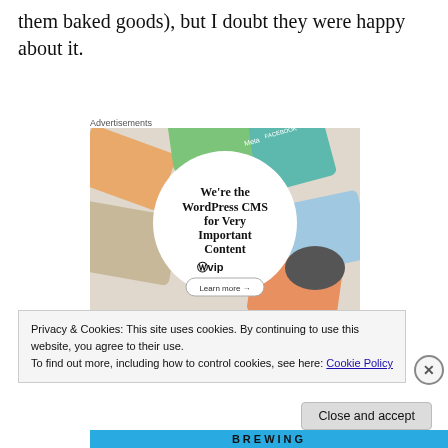them baked goods), but I doubt they were happy about it.
Advertisements
[Figure (illustration): WordPress VIP advertisement showing colorful branded cards in the background with a white circle in the center containing bold text: 'We're the WordPress CMS for Very Important Content' and a WPvip logo and 'Learn more →' button.]
Privacy & Cookies: This site uses cookies. By continuing to use this website, you agree to their use.
To find out more, including how to control cookies, see here: Cookie Policy
Close and accept